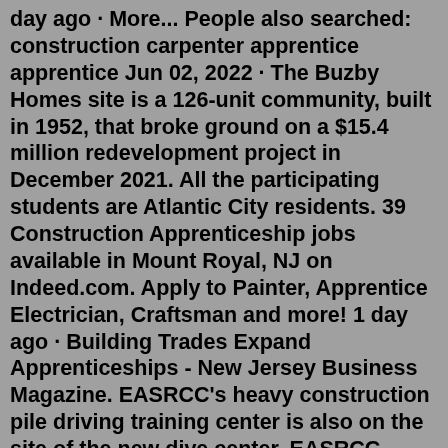day ago · More... People also searched: construction carpenter apprentice apprentice Jun 02, 2022 · The Buzby Homes site is a 126-unit community, built in 1952, that broke ground on a $15.4 million redevelopment project in December 2021. All the participating students are Atlantic City residents. 39 Construction Apprenticeship jobs available in Mount Royal, NJ on Indeed.com. Apply to Painter, Apprentice Electrician, Craftsman and more! 1 day ago · Building Trades Expand Apprenticeships - New Jersey Business Magazine. EASRCC's heavy construction pile driving training center is also on the site of the new dive center. EASRCC purchased the Sicklerville facility for $1.9 million. After needed upgrades, the council will have invested a total of $2.4 million into the complex. hand in hand with this directive, new jersey's present state administration has campaigned to spur the creation and expansion of apprenticeship programs in non-traditional business sectors. 2 of the various ways this is playing out, the recent linkage of apprenticeship to public contracting